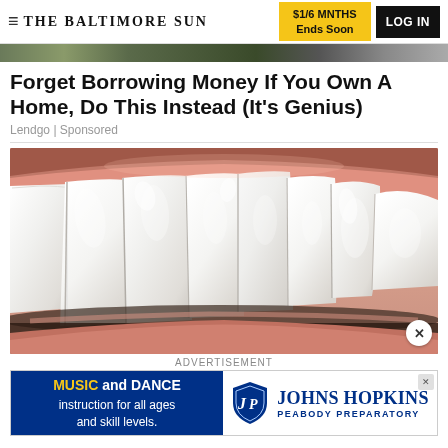THE BALTIMORE SUN | $1/6 MNTHS Ends Soon | LOG IN
[Figure (photo): Close-up photograph of white human teeth showing dental veneer or implant work]
Forget Borrowing Money If You Own A Home, Do This Instead (It's Genius)
Lendgo | Sponsored
ADVERTISEMENT
[Figure (infographic): Johns Hopkins Peabody Preparatory advertisement banner: MUSIC and DANCE instruction for all ages and skill levels, with Johns Hopkins Peabody Preparatory logo]